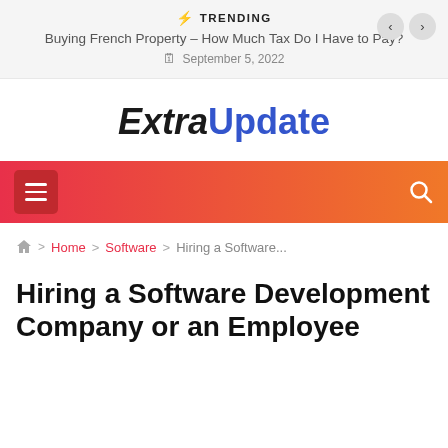TRENDING
Buying French Property – How Much Tax Do I Have to Pay?
September 5, 2022
ExtraUpdate
[Figure (other): Navigation bar with hamburger menu icon on the left and search icon on the right, orange-red gradient background]
Home > Software > Hiring a Software...
Hiring a Software Development Company or an Employee